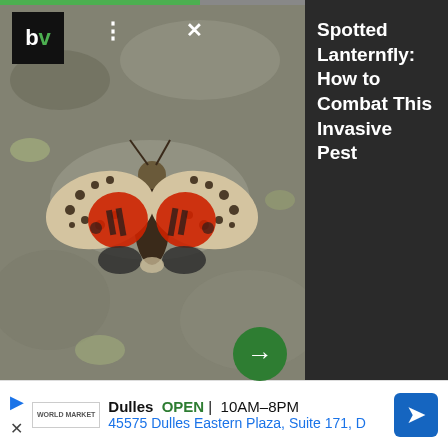[Figure (photo): Spotted lanternfly insect with wings spread showing red and spotted pattern, on a textured grey surface. Left side shows photo with BV logo overlay, three-dot menu, X button, and a green arrow button. Right side is a dark grey panel with white text.]
Spotted Lanternfly: How to Combat This Invasive Pest
from the thermostat. It can sense the heat generated from these things, which will make the AC think the room is warmer than it is.
Related: 18 Ways You're Accidentally Wasting Energy
[Figure (other): Advertisement banner: World Market store in Dulles, OPEN 10AM-8PM, address 45575 Dulles Eastern Plaza, Suite 171, D. Navigation icon on the right.]